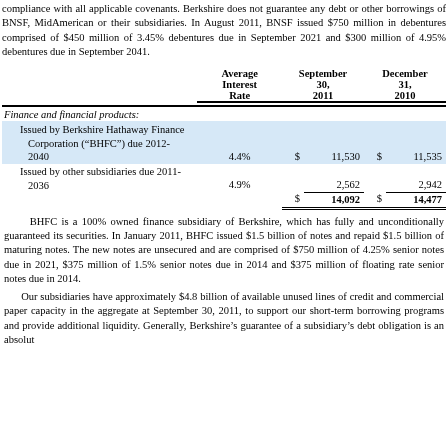compliance with all applicable covenants. Berkshire does not guarantee any debt or other borrowings of BNSF, MidAmerican or their subsidiaries. In August 2011, BNSF issued $750 million in debentures comprised of $450 million of 3.45% debentures due in September 2021 and $300 million of 4.95% debentures due in September 2041.
|  | Average Interest Rate | September 30, 2011 | December 31, 2010 |
| --- | --- | --- | --- |
| Finance and financial products: |  |  |  |
| Issued by Berkshire Hathaway Finance Corporation (“BHFC”) due 2012-2040 | 4.4% | $ 11,530 | $ 11,535 |
| Issued by other subsidiaries due 2011-2036 | 4.9% | 2,562 | 2,942 |
|  |  | $ 14,092 | $ 14,477 |
BHFC is a 100% owned finance subsidiary of Berkshire, which has fully and unconditionally guaranteed its securities. In January 2011, BHFC issued $1.5 billion of notes and repaid $1.5 billion of maturing notes. The new notes are unsecured and are comprised of $750 million of 4.25% senior notes due in 2021, $375 million of 1.5% senior notes due in 2014 and $375 million of floating rate senior notes due in 2014.
Our subsidiaries have approximately $4.8 billion of available unused lines of credit and commercial paper capacity in the aggregate at September 30, 2011, to support our short-term borrowing programs and provide additional liquidity. Generally, Berkshire’s guarantee of a subsidiary’s debt obligation is an absolute